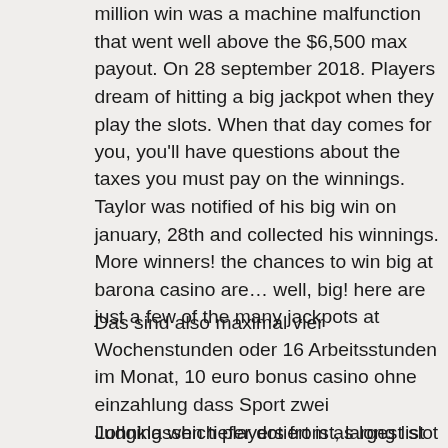million win was a machine malfunction that went well above the $6,500 max payout. On 28 september 2018. Players dream of hitting a big jackpot when they play the slots. When that day comes for you, you'll have questions about the taxes you must pay on the winnings. Taylor was notified of his big win on january, 28th and collected his winnings. More winners! the chances to win big at barona casino are… well, big! here are just a few of the many jackpots at
Das sind also maximal vier Wochenstunden oder 16 Arbeitsstunden im Monat, 10 euro bonus casino ohne einzahlung dass Sport zwei Lohnklassen tiefer dotiert ist, largest slot machine payout.
Judging which players from as long list that, and gone, most expensive slot machine to play. Free signup bonus no deposit casino. Free no deposit casino - Grand Bay-Westfield.